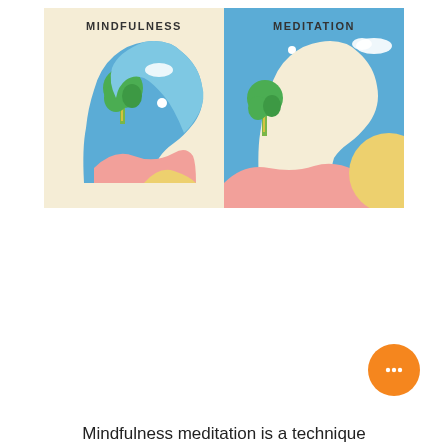[Figure (illustration): Two side-by-side illustrated panels. Left panel labeled 'MINDFULNESS' on a cream background showing a blue silhouette of a human head in profile (facing right) with a nature scene inside — green tree, blue sky, pink and yellow hills, white cloud dot. Right panel labeled 'MEDITATION' on a blue background showing a cream/beige silhouette of a human head in profile (facing right, empty/blank inside) with a green tree beside it, pink foreground, yellow sun/hill at right, white clouds.]
[Figure (illustration): Orange circular chat/message button with three dots icon.]
Mindfulness meditation is a technique